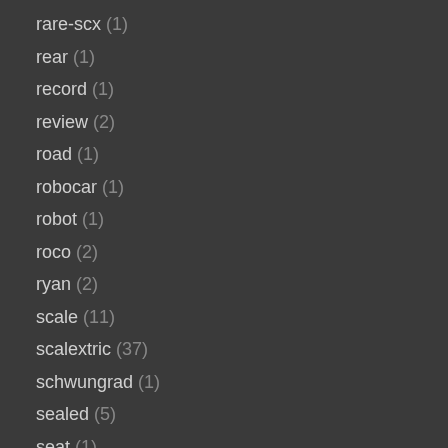rare-scx (1)
rear (1)
record (1)
review (2)
road (1)
robocar (1)
robot (1)
roco (2)
ryan (2)
scale (11)
scalextric (37)
schwungrad (1)
sealed (5)
seat (1)
secondhand (1)
series (3)
sets (1)
ships (1)